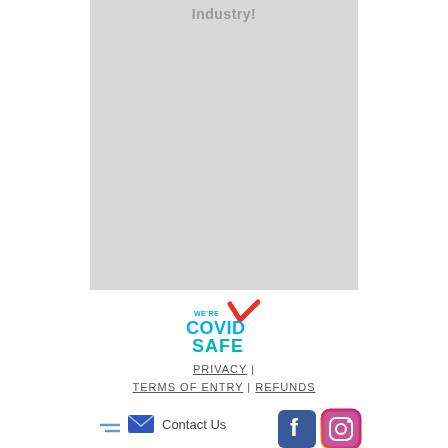Industry!
[Figure (logo): COVID Safe logo with red checkmark and blue/teal text reading WE'RE COVID SAFE]
PRIVACY |
TERMS OF ENTRY | REFUNDS
[Figure (logo): Contact Us icon with envelope and lines, Facebook icon, Instagram icon]